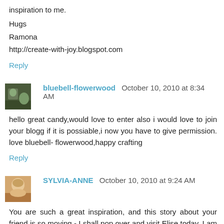inspiration to me.

Hugs
Ramona
http://create-with-joy.blogspot.com
Reply
bluebell-flowerwood October 10, 2010 at 8:34 AM
hello great candy,would love to enter also i would love to join your blogg if it is possiable,i now you have to give permission. love bluebell- flowerwood,happy crafting
Reply
SYLVIA-ANNE October 10, 2010 at 9:24 AM
You are such a great inspiration, and this story about your friend is so moving - I shall pop over and visit Elise today. I am already one of your followers, and will now add your candy details to my blog.
{{{{Hugs}}}}, Sylvia xxx